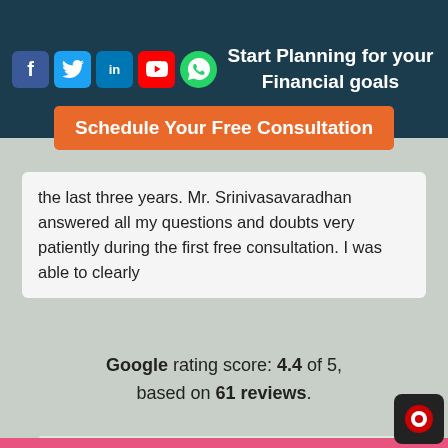[Figure (screenshot): Header bar with social media icons (Facebook, Twitter, LinkedIn, YouTube, WhatsApp) and text 'Start Planning for your Financial goals']
Start Planning for your Financial goals
Schedule Your Free Consultation
the last three years. Mr. Srinivasavaradhan answered all my questions and doubts very patiently during the first free consultation. I was able to clearly
Google rating score: 4.4 of 5, based on 61 reviews.